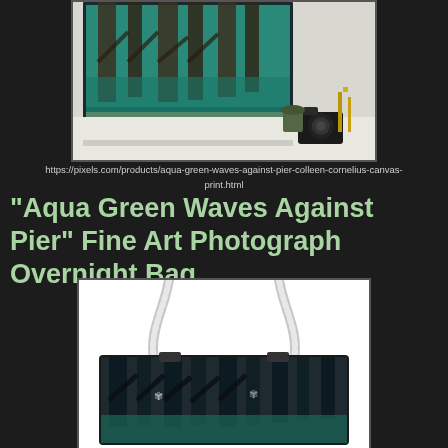[Figure (photo): Canvas print product photo showing aqua green waves against pier pilings, displayed on a white wall with a camera, plant, and decorative items nearby]
https://pixels.com/products/aqua-green-waves-against-pier-colleen-cornelius-canvas-print.html
"Aqua Green Waves Against Pier" Fine Art Photograph Overnight Bag
[Figure (photo): Overnight bag product with the aqua green waves against pier photograph printed on it, shown with white rope handles against a white background]